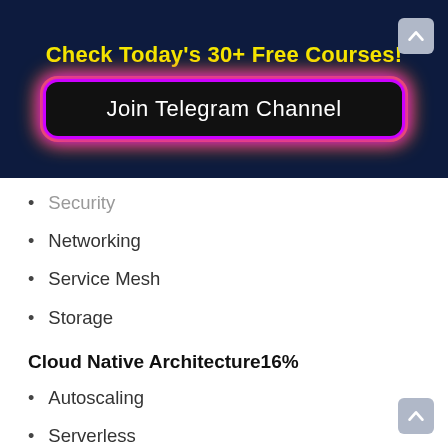Check Today's 30+ Free Courses!
[Figure (other): Join Telegram Channel button with glowing neon border on dark navy background]
Security
Networking
Service Mesh
Storage
Cloud Native Architecture16%
Autoscaling
Serverless
Community and Governance
Roles and Personas
Open Standards
Cloud Native Observability8%